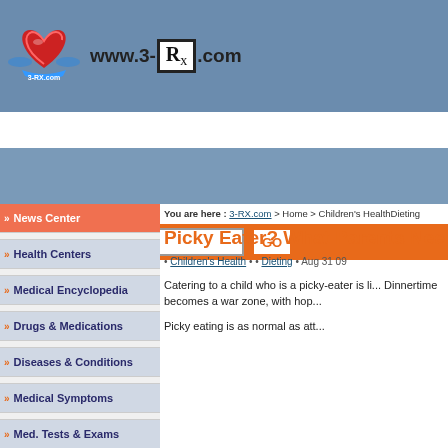[Figure (logo): 3-RX.com website header with heart logo and www.3-RX.com text on blue background]
[Figure (screenshot): Orange search bar with text input labeled 'Search' and a GO button]
News Center
Health Centers
Medical Encyclopedia
Drugs & Medications
Diseases & Conditions
Medical Symptoms
Med. Tests & Exams
You are here : 3-RX.com > Home > Children's HealthDieting
Picky Eater? What Parents Nee
• Children's Health • • Dieting • Aug 31 09
Catering to a child who is a picky-eater is li... Dinnertime becomes a war zone, with hop...
Picky eating is as normal as att...